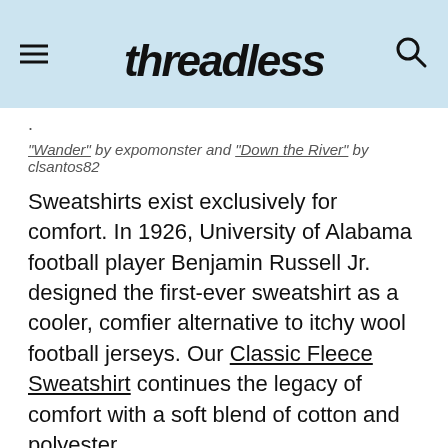Threadless header with hamburger menu, logo, and search icon
. "Wander" by expomonster and "Down the River" by clsantos82
Sweatshirts exist exclusively for comfort. In 1926, University of Alabama football player Benjamin Russell Jr. designed the first-ever sweatshirt as a cooler, comfier alternative to itchy wool football jerseys. Our Classic Fleece Sweatshirt continues the legacy of comfort with a soft blend of cotton and polyester.
Preshrunk fleece knit (most colors are 50% cotton, 50% polyester)
Air-jet yarn for a soft feel and reduced pilling